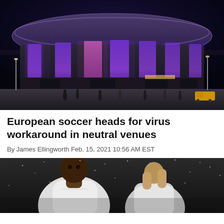[Figure (photo): Nighttime exterior photo of a large modern football stadium illuminated with purple and blue lighting on its facade, with people walking in front.]
European soccer heads for virus workaround in neutral venues
By James Ellingworth Feb. 15, 2021 10:56 AM EST
[Figure (photo): Close-up photo of a soccer player in a white jersey with rain or snow visible, partially cropped.]